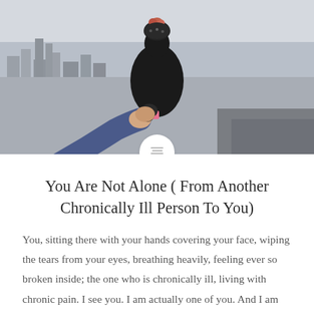[Figure (photo): A person wearing a black jacket and knit hat with pom-pom stands at a high overlook point above a city, holding hands with someone whose arm is visible in the foreground. The city sprawls below in misty/overcast conditions.]
You Are Not Alone ( From Another Chronically Ill Person To You)
You, sitting there with your hands covering your face, wiping the tears from your eyes, breathing heavily, feeling ever so broken inside; the one who is chronically ill, living with chronic pain. I see you. I am actually one of you. And I am terribly sorry that your pain has gotten so bad. As